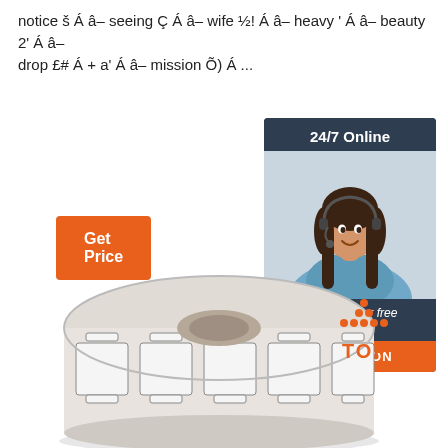notice š Á â– seeing Ç Á â– wife ½! Á â– heavy ' Á â– beauty 2' Á â– drop £# Á + a' Á â– mission Õ) Á ...
[Figure (other): Orange 'Get Price' button]
[Figure (other): Customer service chat widget with '24/7 Online' header, photo of smiling woman with headset, 'Click here for free chat!' text, and orange 'QUOTATION' button]
[Figure (photo): Roll of white labels/stickers on a roll, shown from a slight angle. Orange 'TOP' badge with dots in top-right area of image.]